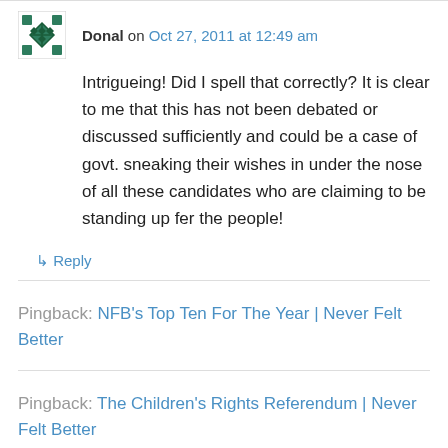Donal on Oct 27, 2011 at 12:49 am
Intrigueing! Did I spell that correctly? It is clear to me that this has not been debated or discussed sufficiently and could be a case of govt. sneaking their wishes in under the nose of all these candidates who are claiming to be standing up fer the people!
↳ Reply
Pingback: NFB's Top Ten For The Year | Never Felt Better
Pingback: The Children's Rights Referendum | Never Felt Better